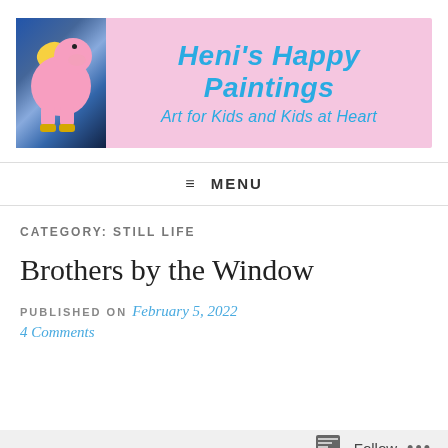[Figure (illustration): Blog header banner with pink background. Left side shows a painting of a pink flying pig with yellow wings and yellow boots. Right side shows the blog title 'Heni's Happy Paintings' and subtitle 'Art for Kids and Kids at Heart' in teal/cyan handwritten-style font.]
≡ MENU
CATEGORY: STILL LIFE
Brothers by the Window
PUBLISHED ON February 5, 2022
4 Comments